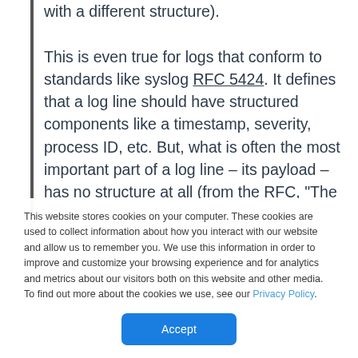with a different structure).

This is even true for logs that conform to standards like syslog RFC 5424. It defines that a log line should have structured components like a timestamp, severity, process ID, etc. But, what is often the most important part of a log line – its payload – has no structure at all (from the RFC, "The
This website stores cookies on your computer. These cookies are used to collect information about how you interact with our website and allow us to remember you. We use this information in order to improve and customize your browsing experience and for analytics and metrics about our visitors both on this website and other media. To find out more about the cookies we use, see our Privacy Policy.